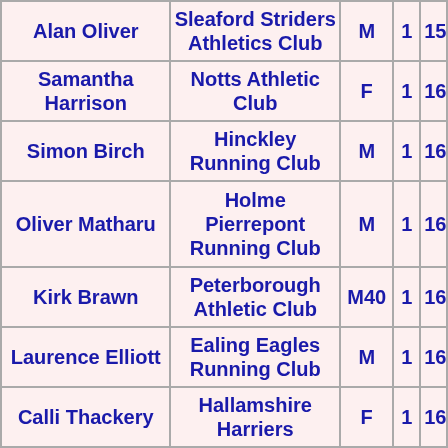| Name | Club | Category | Col4 | Col5 |
| --- | --- | --- | --- | --- |
| Alan Oliver | Sleaford Striders Athletics Club | M | 1 | 15 |
| Samantha Harrison | Notts Athletic Club | F | 1 | 16 |
| Simon Birch | Hinckley Running Club | M | 1 | 16 |
| Oliver Matharu | Holme Pierrepont Running Club | M | 1 | 16 |
| Kirk Brawn | Peterborough Athletic Club | M40 | 1 | 16 |
| Laurence Elliott | Ealing Eagles Running Club | M | 1 | 16 |
| Calli Thackery | Hallamshire Harriers | F | 1 | 16 |